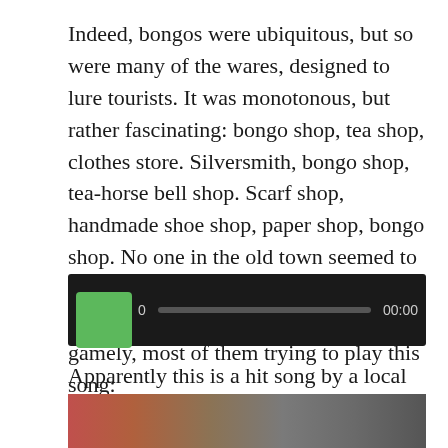Indeed, bongos were ubiquitous, but so were many of the wares, designed to lure tourists. It was monotonous, but rather fascinating: bongo shop, tea shop, clothes store. Silversmith, bongo shop, tea-horse bell shop. Scarf shop, handmade shoe shop, paper shop, bongo shop. No one in the old town seemed to need to buy anything else. And all of the bongo shops had pretty girls playing gamely, most of them trying to play this song:
[Figure (other): Audio player widget with dark background, green play button, progress bar, and time display showing 00:00]
Apparently this is a hit song by a local band*; we heard it constantly. I can't think of Lijiang without hearing this sound track now.
[Figure (photo): Partial photo strip at bottom of page showing colorful scene]